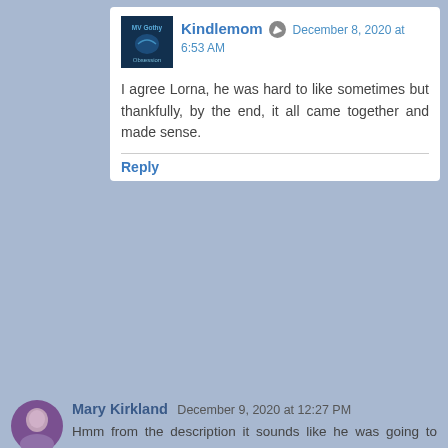[Figure (photo): Avatar image for Kindlemom - dark blue book cover style image]
Kindlemom December 8, 2020 at 6:53 AM
I agree Lorna, he was hard to like sometimes but thankfully, by the end, it all came together and made sense.
Reply
[Figure (photo): Avatar photo of Mary Kirkland - woman with purple top]
Mary Kirkland December 9, 2020 at 12:27 PM
Hmm from the description it sounds like he was going to cheat on her with another woman but from your review it sounds like more that that is going on.
Reply
▾ Replies
[Figure (photo): Avatar image for Kindlemom - dark blue book cover style image]
Kindlemom December 10, 2020 at 1:33 PM
Hard to explain without giving anything away!